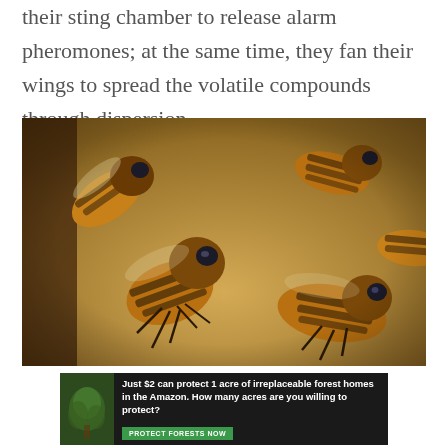their sting chamber to release alarm pheromones; at the same time, they fan their wings to spread the volatile compounds through dispersion.
[Figure (photo): Close-up macro photograph of several honeybees on a wooden hive surface. The bees are shown in sharp detail with their striped amber and black abdomens, compound eyes, and legs visible.]
[Figure (infographic): Advertisement banner with dark background. Left side shows a small image of forest/jungle. Text reads: 'Just $2 can protect 1 acre of irreplaceable forest homes in the Amazon. How many acres are you willing to protect?' with a green 'PROTECT FORESTS NOW' button.]